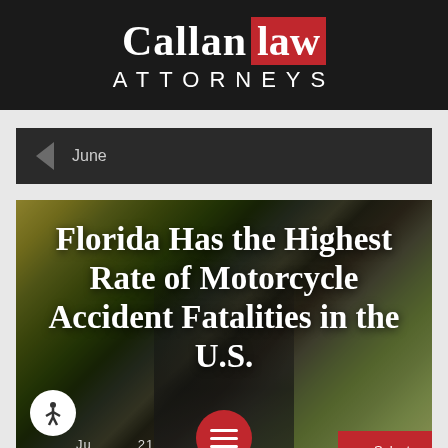Callan Law ATTORNEYS
June
[Figure (photo): Motorcycle rider on a tree-lined road with autumn foliage, viewed from behind the rider]
Florida Has the Highest Rate of Motorcycle Accident Fatalities in the U.S.
June 2021